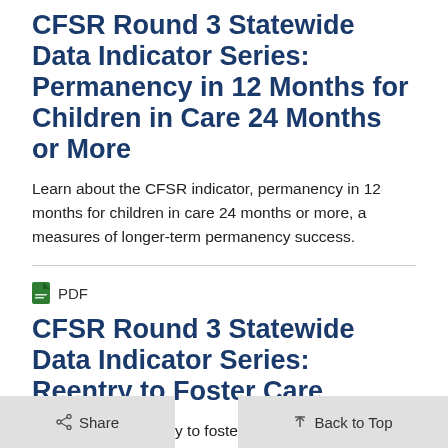CFSR Round 3 Statewide Data Indicator Series: Permanency in 12 Months for Children in Care 24 Months or More
Learn about the CFSR indicator, permanency in 12 months for children in care 24 months or more, a measures of longer-term permanency success.
PDF
CFSR Round 3 Statewide Data Indicator Series: Reentry to Foster Care
Learn how the reentry to foster care information CFSR indicator is  used to measure an agency's reunification and other goals.
Share   Back to Top